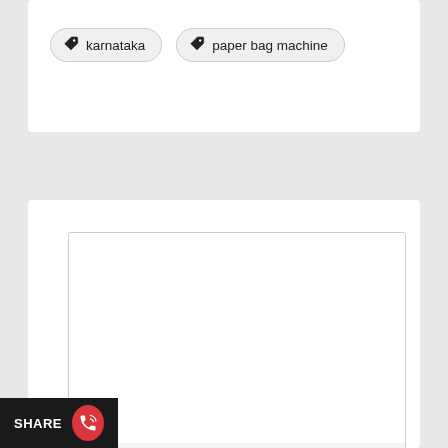karnataka
paper bag machine
[Figure (photo): A blue industrial paper bag making machine photographed against a light grey background. The machine has a large white paper roll on the left side, multiple mechanical components in the center, and a box/output section on the right.]
Request a Call